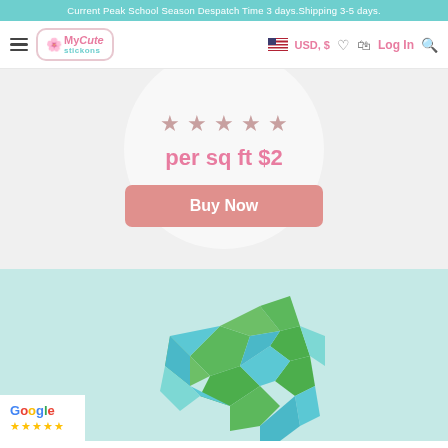Current Peak School Season Despatch Time 3 days.Shipping 3-5 days.
[Figure (screenshot): Navigation bar with hamburger menu, MyCute Stickons logo, USD currency selector, wishlist, cart, Log In, and search icons]
★★★★★
per sq ft $2
Buy Now
[Figure (illustration): Low-poly geometric globe/earth illustration in green, blue and teal colors on a light teal background, with a Google five-star review badge in the bottom left corner]